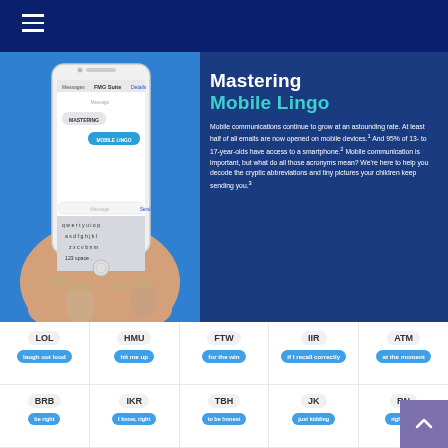Navigation menu
Mastering Mobile Lingo
Mobile communications continue to grow at an astounding rate. At least half of all emails are now opened on mobile devices.¹ And 95% of 13- to 17-year-olds have access to a smartphone.² Mobile communication is important, but what do all those acronyms mean? We're here to help you decode the cryptic abbreviations and tiny pictures your children keep sending you.³
[Figure (illustration): Hand holding a smartphone showing a text message conversation with MASTERING and MOBILE LINGO messages]
LOL — laugh out loud
HMU — hit me up
FTW — for the win
IIR — if I recall correctly
ATM — at the moment
BRB — be right back
IKR — I know, right
TBH — to be honest
JK — just kidding
RN — right now